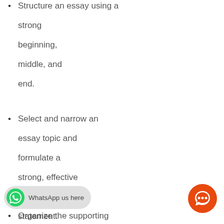Structure an essay using a strong beginning, middle, and end.
Select and narrow an essay topic and formulate a strong, effective thesis statement.
Organize the supporting